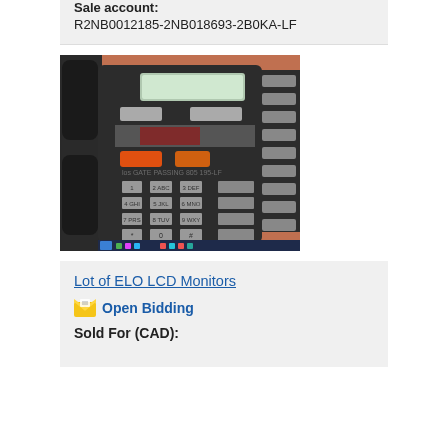Sale account: R2NB0012185-2NB018693-2B0KA-LF
[Figure (photo): Close-up photograph of a black office desk phone (Nortel or similar) with LCD display, numeric keypad, function buttons, and two orange buttons visible. A computer taskbar is visible at the bottom of the image.]
Lot of ELO LCD Monitors
Open Bidding
Sold For (CAD):